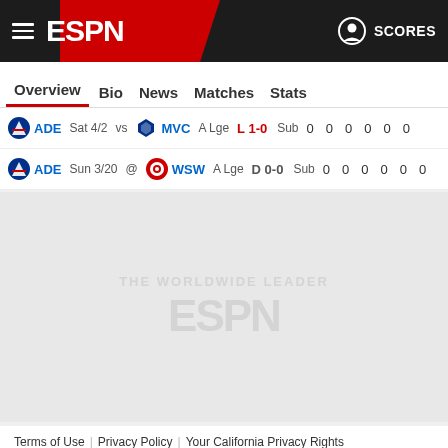ESPN — SCORES
Overview | Bio | News | Matches | Stats
| Team | Date |  | Opp Team | Opp | Comp | Result | Sub | 0 | 0 | 0 | 0 | 0 | 0 |
| --- | --- | --- | --- | --- | --- | --- | --- | --- | --- | --- | --- | --- | --- |
| ADE | Sat 4/2 | vs | MVC | A Lge | L 1-0 | Sub | 0 | 0 | 0 | 0 | 0 | 0 |
| ADE | Sun 3/20 | @ | WSW | A Lge | D 0-0 | Sub | 0 | 0 | 0 | 0 | 0 | 0 |
[Figure (logo): ESPN watermark logo in light grey]
Terms of Use | Privacy Policy | Your California Privacy Rights | Children's Online Privacy Policy | Interest-Based Ads | About Nielsen Measurement | Do Not Sell My Info | Contact Us | Disney Ad Sales Site | Work for ESPN
Copyright: © ESPN Enterprises, Inc. All rights reserved.